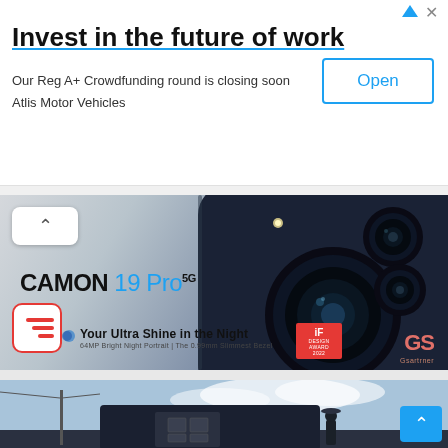[Figure (screenshot): Advertisement banner: 'Invest in the future of work' - Atlis Motor Vehicles Reg A+ Crowdfunding with Open button]
[Figure (screenshot): Tecno CAMON 19 Pro 5G smartphone advertisement showing camera module close-up with tagline 'Your Ultra Shine in the Night']
[Figure (screenshot): Advertisement banner showing Atlis Motor Vehicles electric truck in a rural outdoor setting]